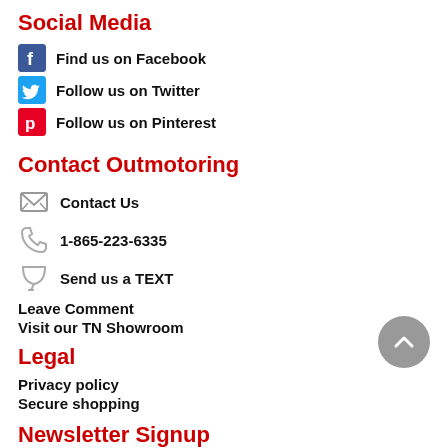Social Media
Find us on Facebook
Follow us on Twitter
Follow us on Pinterest
Contact Outmotoring
Contact Us
1-865-223-6335
Send us a TEXT
Leave Comment
Visit our TN Showroom
Legal
Privacy policy
Secure shopping
Newsletter Signup
Sign up for MINI Newsletters. Get Monthly discount codes!